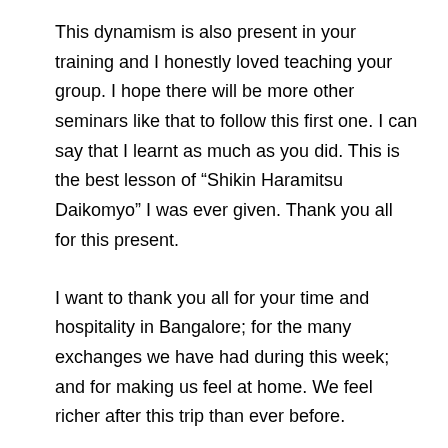This dynamism is also present in your training and I honestly loved teaching your group. I hope there will be more other seminars like that to follow this first one. I can say that I learnt as much as you did. This is the best lesson of “Shikin Haramitsu Daikomyo” I was ever given. Thank you all for this present.
I want to thank you all for your time and hospitality in Bangalore; for the many exchanges we have had during this week; and for making us feel at home. We feel richer after this trip than ever before.
Chukrya,
Arnaud Cousergue
Bujinkan Shihan